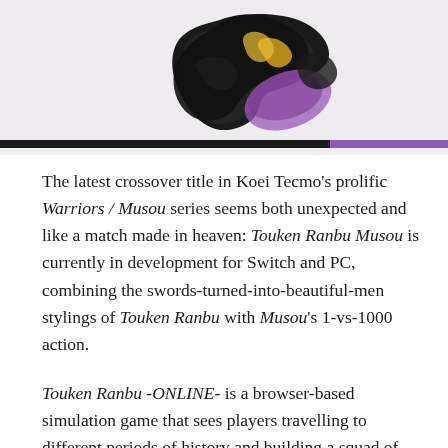[Figure (illustration): Japanese calligraphic artwork showing black brushstroke characters with purple and gold decorative elements on a light gray textured background, with a thick black and purple horizontal separator bar below]
The latest crossover title in Koei Tecmo's prolific Warriors / Musou series seems both unexpected and like a match made in heaven: Touken Ranbu Musou is currently in development for Switch and PC, combining the swords-turned-into-beautiful-men stylings of Touken Ranbu with Musou's 1-vs-1000 action.
Touken Ranbu -ONLINE- is a browser-based simulation game that sees players travelling to different periods of history and building a squad of swords that have taken the form of beautiful men. Though not strictly an otome game per se, in that relationship development isn't a major focus, it shares a similar